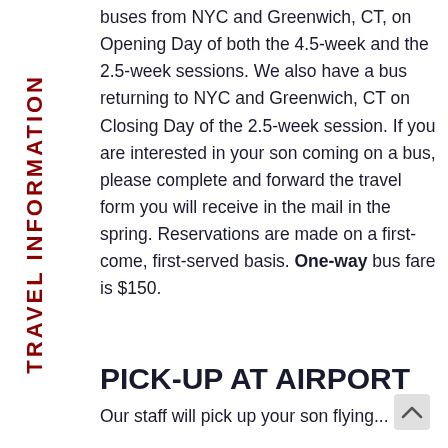TRAVEL INFORMATION
buses from NYC and Greenwich, CT, on Opening Day of both the 4.5-week and the 2.5-week sessions. We also have a bus returning to NYC and Greenwich, CT on Closing Day of the 2.5-week session. If you are interested in your son coming on a bus, please complete and forward the travel form you will receive in the mail in the spring. Reservations are made on a first-come, first-served basis. One-way bus fare is $150.
PICK-UP AT AIRPORT
Our staff will pick up your son flying...